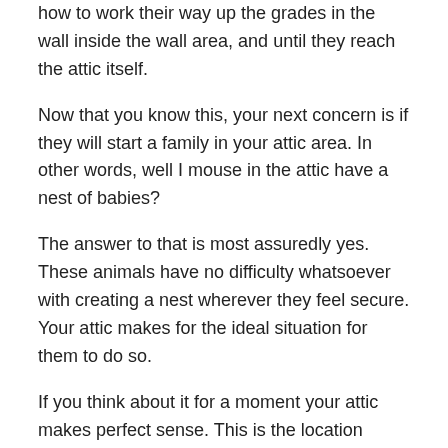how to work their way up the grades in the wall inside the wall area, and until they reach the attic itself.
Now that you know this, your next concern is if they will start a family in your attic area. In other words, well I mouse in the attic have a nest of babies?
The answer to that is most assuredly yes. These animals have no difficulty whatsoever with creating a nest wherever they feel secure. Your attic makes for the ideal situation for them to do so.
If you think about it for a moment your attic makes perfect sense. This is the location where people spend a very limited amount of time each year. In fact, the only reason